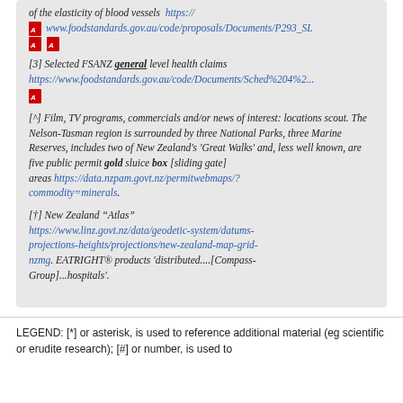of the elasticity of blood vessels  https:// www.foodstandards.gov.au/code/proposals/Documents/P293_SL [pdf icons]
[3] Selected FSANZ general level health claims https://www.foodstandards.gov.au/code/Documents/Sched%204%2... [pdf icon]
[^] Film, TV programs, commercials and/or news of interest: locations scout. The Nelson-Tasman region is surrounded by three National Parks, three Marine Reserves, includes two of New Zealand's 'Great Walks' and, less well known, are five public permit gold sluice box [sliding gate] areas https://data.nzpam.govt.nz/permitwebmaps/?commodity=minerals.
[†] New Zealand "Atlas" https://www.linz.govt.nz/data/geodetic-system/datums-projections-heights/projections/new-zealand-map-grid-nzmg. EATRIGHT® products 'distributed....[Compass-Group]...hospitals'.
LEGEND: [*] or asterisk, is used to reference additional material (eg scientific or erudite research); [#] or number, is used to